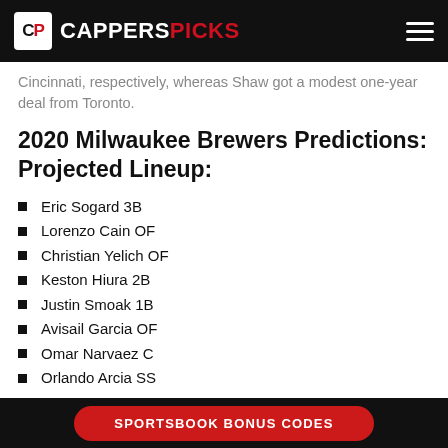CAPPERS PICKS
Cincinnati, respectively, whereas Shaw got a modest one-year deal from Toronto.
2020 Milwaukee Brewers Predictions: Projected Lineup:
Eric Sogard 3B
Lorenzo Cain OF
Christian Yelich OF
Keston Hiura 2B
Justin Smoak 1B
Avisail Garcia OF
Omar Narvaez C
Orlando Arcia SS
SPORTSBOOK BONUS CODES